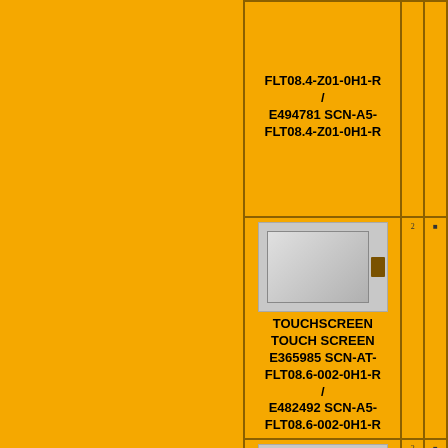| (left) | Product | Qty | Icon |
| --- | --- | --- | --- |
|  | FLT08.4-Z01-0H1-R / E494781 SCN-A5-FLT08.4-Z01-0H1-R | 2 |  |
|  | TOUCHSCREEN TOUCH SCREEN E365985 SCN-AT-FLT08.6-002-0H1-R / E482492 SCN-A5-FLT08.6-002-0H1-R | 2 |  |
|  | TOUCHSCREEN TOUCH SCREEN E853914 SCN-AT- | 2 |  |